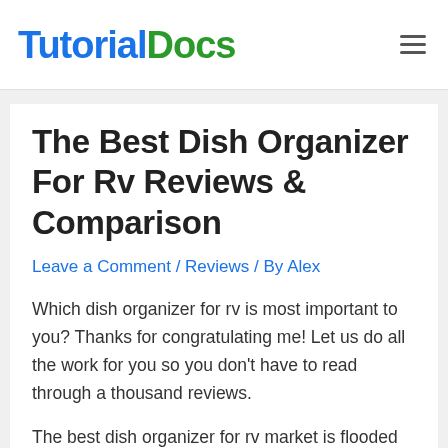TutorialDocs
The Best Dish Organizer For Rv Reviews & Comparison
Leave a Comment / Reviews / By Alex
Which dish organizer for rv is most important to you? Thanks for congratulating me! Let us do all the work for you so you don't have to read through a thousand reviews.
The best dish organizer for rv market is flooded with so many options that it is likely you will have trouble